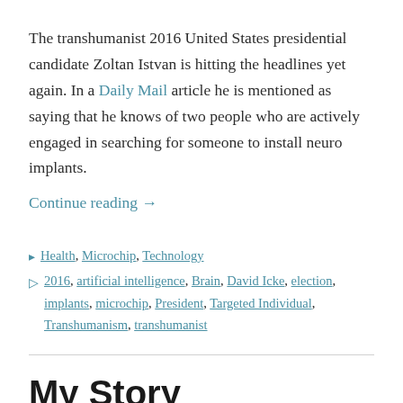The transhumanist 2016 United States presidential candidate Zoltan Istvan is hitting the headlines yet again. In a Daily Mail article he is mentioned as saying that he knows of two people who are actively engaged in searching for someone to install neuro implants.
Continue reading →
Health, Microchip, Technology
2016, artificial intelligence, Brain, David Icke, election, implants, microchip, President, Targeted Individual, Transhumanism, transhumanist
My Story